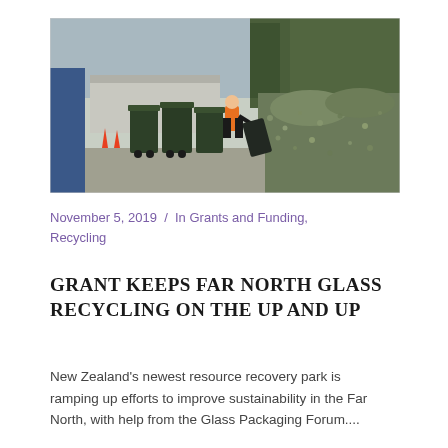[Figure (photo): Outdoor recycling facility showing a worker in orange hi-vis jacket moving a large dark wheelie bin, with rows of dark green bins and a large pile of crushed glass bottles in the background, concrete wall and trees visible.]
November 5, 2019  /  In Grants and Funding, Recycling
GRANT KEEPS FAR NORTH GLASS RECYCLING ON THE UP AND UP
New Zealand's newest resource recovery park is ramping up efforts to improve sustainability in the Far North, with help from the Glass Packaging Forum....